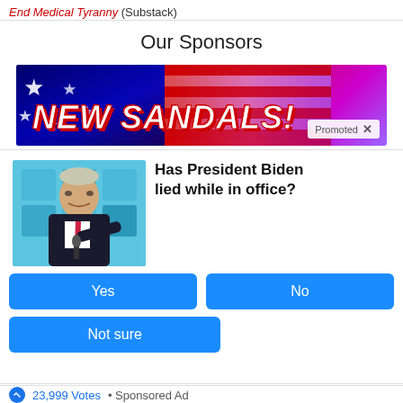End Medical Tyranny (Substack)
Our Sponsors
[Figure (photo): Advertisement banner with American flag and light streaks background, text reads 'NEW SANDALS!' with a 'Promoted' badge]
Has President Biden lied while in office?
[Figure (photo): Photo of President Biden at a podium pointing forward, blue background]
Yes
No
Not sure
23,999 Votes • Sponsored Ad